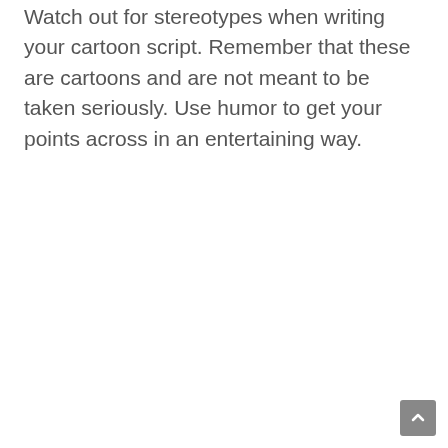Watch out for stereotypes when writing your cartoon script. Remember that these are cartoons and are not meant to be taken seriously. Use humor to get your points across in an entertaining way.